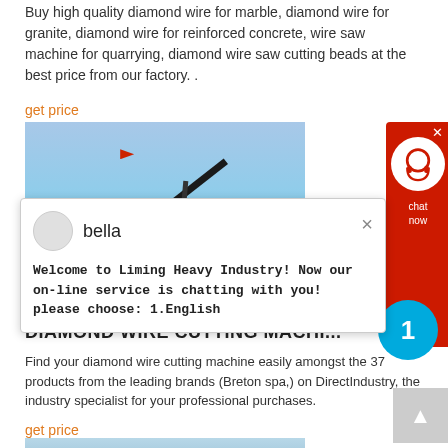Buy high quality diamond wire for marble, diamond wire for granite, diamond wire for reinforced concrete, wire saw machine for quarrying, diamond wire saw cutting beads at the best price from our factory. .
get price
[Figure (photo): Photo of a large red industrial diamond wire cutting machine / quarrying crane equipment against a blue sky and outdoor ground background]
[Figure (screenshot): Chat popup from Liming Heavy Industry with avatar named 'bella' and message: Welcome to Liming Heavy Industry! Now our on-line service is chatting with you! please choose: 1.English]
[Figure (other): Customer service red icon on right side with headset symbol]
DIAMOND WIRE CUTTING MACHINE
Find your diamond wire cutting machine easily amongst the 37 products from the leading brands (Breton spa,) on DirectIndustry, the industry specialist for your professional purchases.
get price
[Figure (photo): Partial photo of industrial equipment at the bottom of the page]